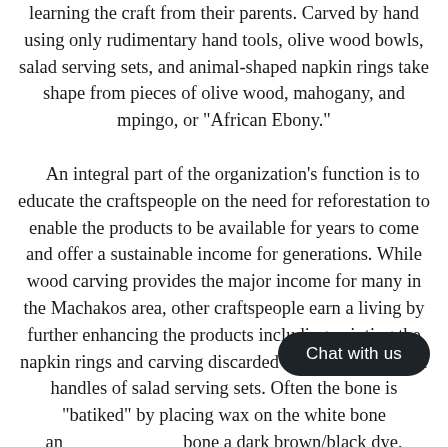learning the craft from their parents. Carved by hand using only rudimentary hand tools, olive wood bowls, salad serving sets, and animal-shaped napkin rings take shape from pieces of olive wood, mahogany, and mpingo, or "African Ebony."

An integral part of the organization's function is to educate the craftspeople on the need for reforestation to enable the products to be available for years to come and offer a sustainable income for generations. While wood carving provides the major income for many in the Machakos area, other craftspeople earn a living by further enhancing the products including painting the napkin rings and carving discarded animal bone for the handles of salad serving sets. Often the bone is "batiked" by placing wax on the white bone and [Chat with us] bone a dark brown/black dye, resulting [Chat with us] an [muu cloth] designs.